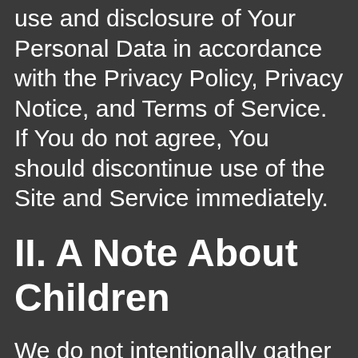use and disclosure of Your Personal Data in accordance with the Privacy Policy, Privacy Notice, and Terms of Service. If You do not agree, You should discontinue use of the Site and Service immediately.
II. A Note About Children
We do not intentionally gather Personal Data from visitors who are under the age of 13. If a child under 13 submits Personal Data to WWW.CBD-NEWZ.COM and We learn that the Personal Data is the